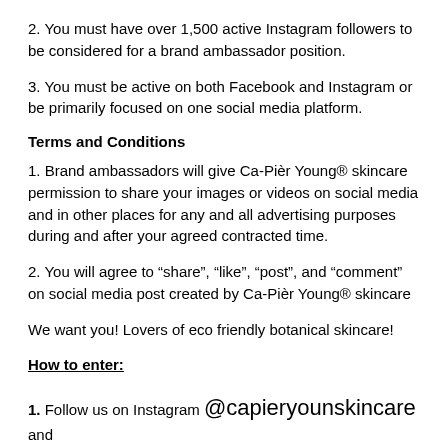2. You must have over 1,500 active Instagram followers to be considered for a brand ambassador position.
3. You must be active on both Facebook and Instagram or be primarily focused on one social media platform.
Terms and Conditions
1. Brand ambassadors will give Ca-Pièr Young® skincare permission to share your images or videos on social media and in other places for any and all advertising purposes during and after your agreed contracted time.
2. You will agree to “share”, “like”, “post”, and “comment” on social media post created by Ca-Pièr Young® skincare
We want you! Lovers of eco friendly botanical skincare!
How to enter:
1. Follow us on Instagram @capieryounskincare and Facebook Ca Pièr Young Skincare